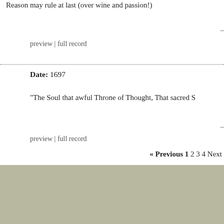Reason may rule at last (over wine and passion!)
preview | full record
Date: 1697
"The Soul that awful Throne of Thought, That sacred S
preview | full record
« Previous 1 2 3 4 Next
The Mind is a Metaphor is authored by Brad Pasanek, Assistant Professor of English, University of Virginia.
This w Subscr